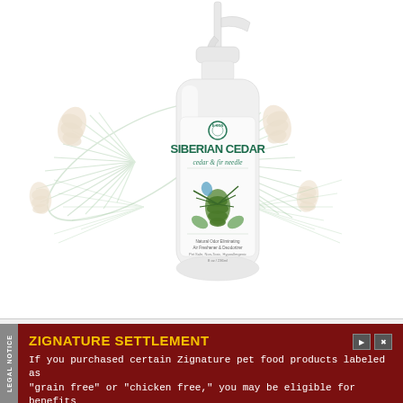[Figure (photo): A white spray bottle with a trigger pump labeled 'SIBERIAN CEDAR - cedar & fir needle' with a nature illustration on the label showing pine cones and cedar branches. The background features faded decorative pine branches and cones in muted green and beige tones.]
LEGAL NOTICE
ZIGNATURE SETTLEMENT
If you purchased certain Zignature pet food products labeled as "grain free" or "chicken free," you may be eligible for benefits